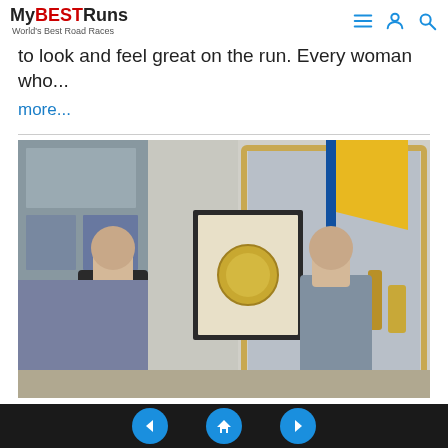MyBESTRuns — World's Best Road Races
to look and feel great on the run. Every woman who...
more...
[Figure (photo): Two men standing beside a framed plaque being unveiled with a gold and blue flag/drape, in front of a display case containing trophies and running memorabilia.]
Navigation: previous, home, next